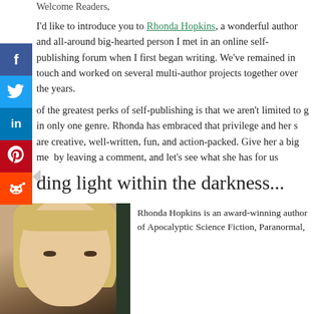Welcome Readers,
I'd like to introduce you to Rhonda Hopkins, a wonderful author and all-around big-hearted person I met in an online self-publishing forum when I first began writing. We've remained in touch and worked on several multi-author projects together over the years.
...of the greatest perks of self-publishing is that we aren't limited to ...g in only one genre. Rhonda has embraced that privilege and her ...s are creative, well-written, fun, and action-packed. Give her a big ...me  by leaving a comment, and let's see what she has for us
...ding light within the darkness...
[Figure (photo): Portrait photo of Rhonda Hopkins, a woman with blonde bangs, photographed in front of bookshelves]
Rhonda Hopkins is an award-winning author of Apocalyptic Science Fiction, Paranormal,